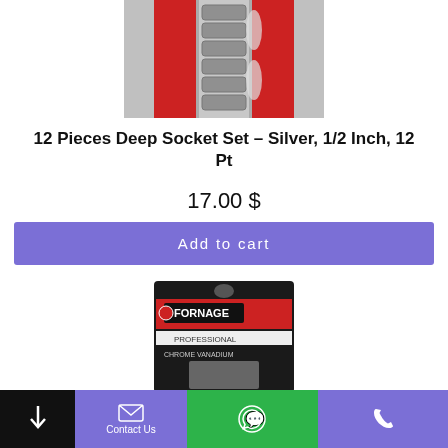[Figure (photo): Socket set product photo showing chrome sockets on a red rack/background, partially cut off at the top]
12 Pieces Deep Socket Set – Silver, 1/2 Inch, 12 Pt
17.00 $
Add to cart
[Figure (photo): Fornage Professional Chrome Vanadium product in black blister packaging, partially visible]
Contact Us